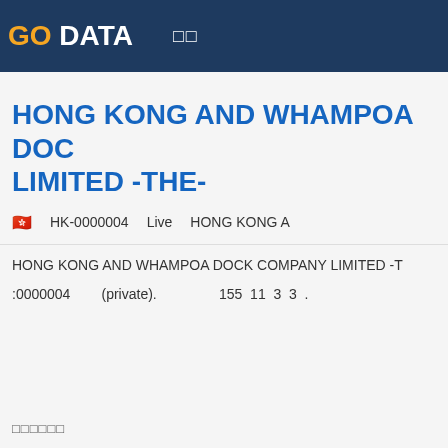GO DATA □□
HONG KONG AND WHAMPOA DOCK LIMITED -THE-
🇭🇰  HK-0000004  Live  HONG KONG A
HONG KONG AND WHAMPOA DOCK COMPANY LIMITED -T
:0000004  (private).  155  11  3  3  .
□□□□□□